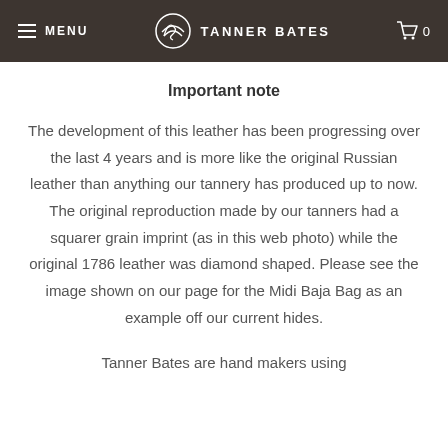MENU  TANNER BATES  0
Important note
The development of this leather has been progressing over the last 4 years and is more like the original Russian leather than anything our tannery has produced up to now. The original reproduction made by our tanners had a squarer grain imprint (as in this web photo) while the original 1786 leather was diamond shaped. Please see the image shown on our page for the Midi Baja Bag as an example off our current hides.
Tanner Bates are hand makers using